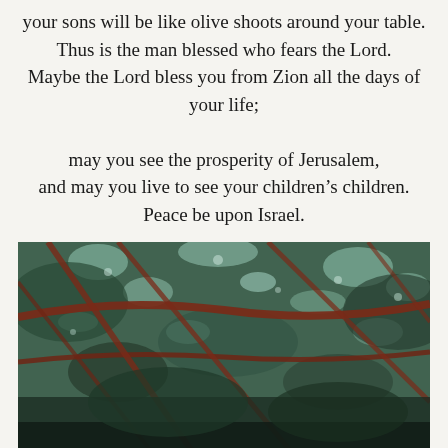your sons will be like olive shoots around your table. Thus is the man blessed who fears the Lord. Maybe the Lord bless you from Zion all the days of your life; may you see the prosperity of Jerusalem, and may you live to see your children's children. Peace be upon Israel.
[Figure (photo): Looking up through tree branches with dark red/brown structural beams or supports visible against a canopy of green leaves with light filtering through.]